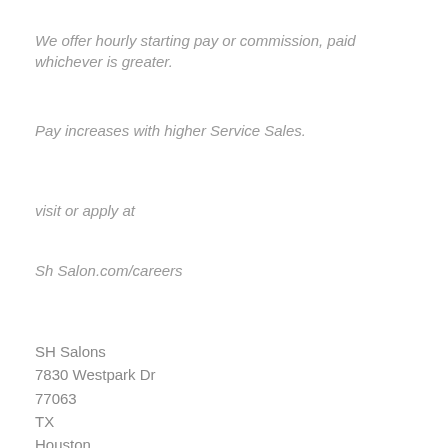We offer hourly starting pay or commission, paid whichever is greater.
Pay increases with higher Service Sales.
visit or apply at
Sh Salon.com/careers
SH Salons
7830 Westpark Dr
77063
TX
Houston
Contact Name:
Heike B. Bassett